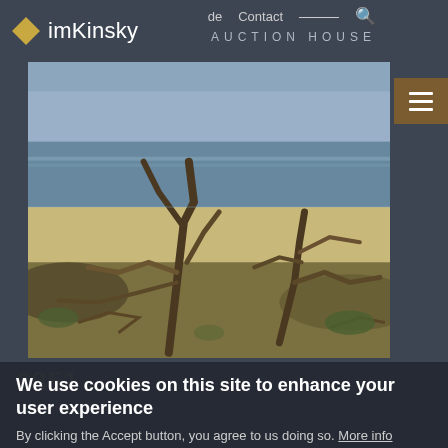imKinsky AUCTION HOUSE | de Contact
[Figure (photo): Painting of deer antlers/driftwood on a sandy shore with water and sky in background — oil painting style]
0851
91st Auction
We use cookies on this site to enhance your user experience
By clicking the Accept button, you agree to us doing so. More info
Accept
€ 6.000 – 10.000
Result: € 5.000